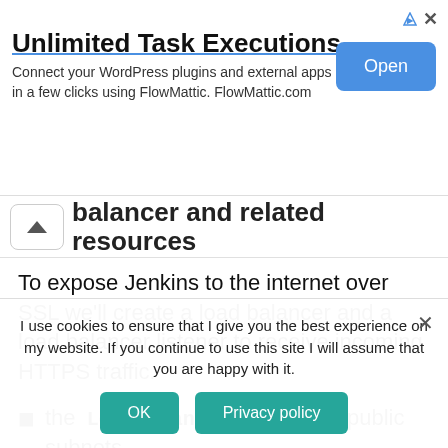[Figure (other): Advertisement banner: 'Unlimited Task Executions' with subtitle 'Connect your WordPress plugins and external apps in a few clicks using FlowMattic. FlowMattic.com' and an 'Open' button]
balancer and related resources
To expose Jenkins to the internet over SSL we'll create a load balancer and a load balancer listener to receive incoming HTTPS traffic.
the LoadBalancer spans two public subnets
it's assigned a LoadBalancerSecurityGroup
which allows inbound traffic from the internet on the
I use cookies to ensure that I give you the best experience on my website. If you continue to use this site I will assume that you are happy with it.